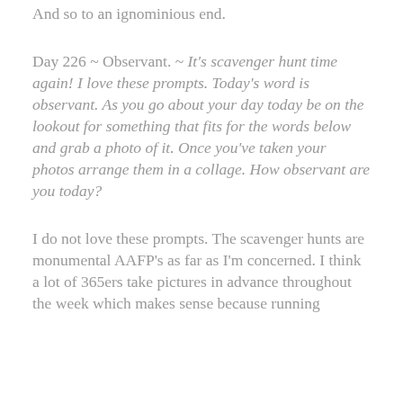And so to an ignominious end.
Day 226 ~ Observant. ~ It's scavenger hunt time again!  I love these prompts.  Today's word is observant.  As you go about your day today be on the lookout for something that fits for the words below and grab a photo of it.  Once you've taken your photos arrange them in a collage.  How observant are you today?
I do not love these prompts. The scavenger hunts are monumental AAFP's as far as I'm concerned. I think a lot of 365ers take pictures in advance throughout the week which makes sense because running